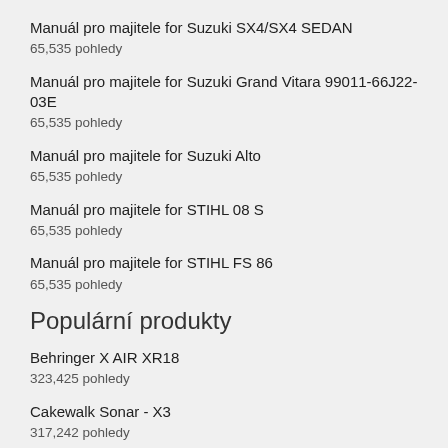Manuál pro majitele for Suzuki SX4/SX4 SEDAN
65,535 pohledy
Manuál pro majitele for Suzuki Grand Vitara 99011-66J22-03E
65,535 pohledy
Manuál pro majitele for Suzuki Alto
65,535 pohledy
Manuál pro majitele for STIHL 08 S
65,535 pohledy
Manuál pro majitele for STIHL FS 86
65,535 pohledy
Populární produkty
Behringer X AIR XR18
323,425 pohledy
Cakewalk Sonar - X3
317,242 pohledy
eMachines D642
315,661 pohledy